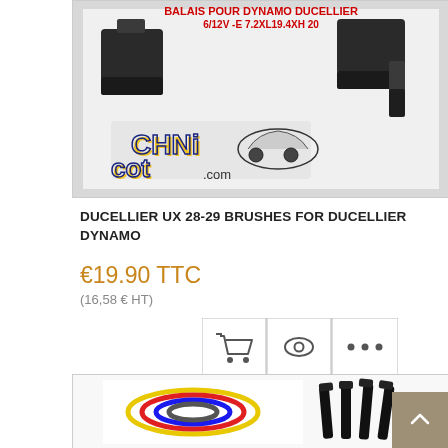[Figure (photo): Product photo of Ducellier dynamo brushes on white background, with 'BALAIS POUR DYNAMO DUCELLIER 6/12V -E 7.2XL19.4XH 20' text in red and a TechniCot.com logo overlay showing a car silhouette]
DUCELLIER UX 28-29 BRUSHES FOR DUCELLIER DYNAMO
€19.90 TTC
(16,58 € HT)
[Figure (other): Three action buttons: shopping cart icon, eye/view icon, and three dots (more options) icon]
[Figure (photo): Product photo showing colored wires (yellow, red, blue) and black cable ties on white background]